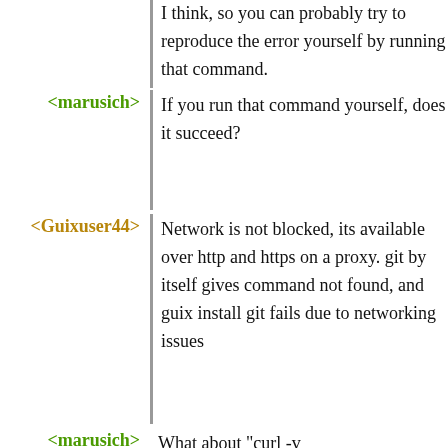I think, so you can probably try to reproduce the error yourself by running that command.
<marusich> If you run that command yourself, does it succeed?
<Guixuser44> Network is not blocked, its available over http and https on a proxy. git by itself gives command not found, and guix install git fails due to networking issues
<marusich> What about "curl -v https://git.savannah.gnu.org/git/guix.git"?